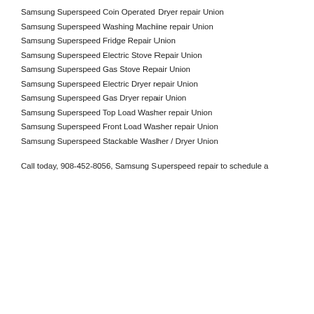Samsung Superspeed Coin Operated Dryer repair Union
Samsung Superspeed Washing Machine repair Union
Samsung Superspeed Fridge Repair Union
Samsung Superspeed Electric Stove Repair Union
Samsung Superspeed Gas Stove Repair Union
Samsung Superspeed Electric Dryer repair Union
Samsung Superspeed Gas Dryer repair Union
Samsung Superspeed Top Load Washer repair Union
Samsung Superspeed Front Load Washer repair Union
Samsung Superspeed Stackable Washer / Dryer Union
Call today, 908-452-8056, Samsung Superspeed repair to schedule a